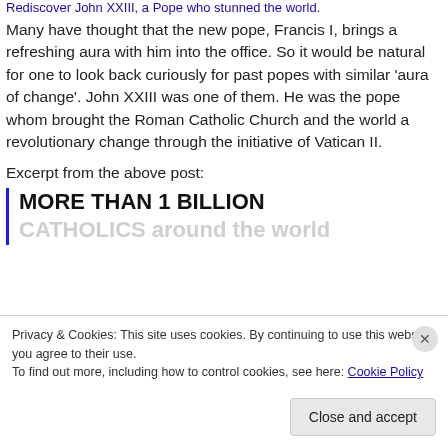Rediscover John XXIII, a Pope who stunned the world.
Many have thought that the new pope, Francis I, brings a refreshing aura with him into the office. So it would be natural for one to look back curiously for past popes with similar 'aura of change'. John XXIII was one of them. He was the pope whom brought the Roman Catholic Church and the world a revolutionary change through the initiative of Vatican II.
Excerpt from the above post:
MORE THAN 1 BILLION
CATHOLICS around the world...
Privacy & Cookies: This site uses cookies. By continuing to use this website, you agree to their use.
To find out more, including how to control cookies, see here: Cookie Policy
Close and accept